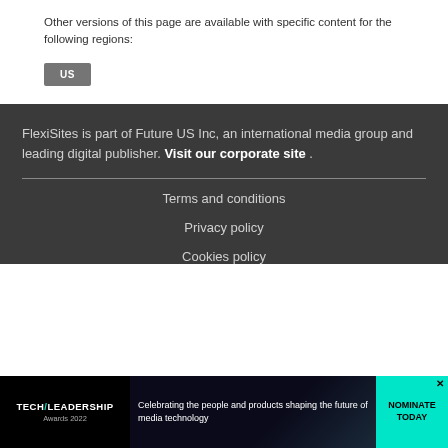Other versions of this page are available with specific content for the following regions:
US
FlexiSites is part of Future US Inc, an international media group and leading digital publisher. Visit our corporate site .
Terms and conditions
Privacy policy
Cookies policy
[Figure (infographic): Tech Leadership Awards 2022 advertisement banner. Logo on left, text in center reading 'Celebrating the people and products shaping the future of media technology', teal 'NOMINATE TODAY' button on right with X close button.]